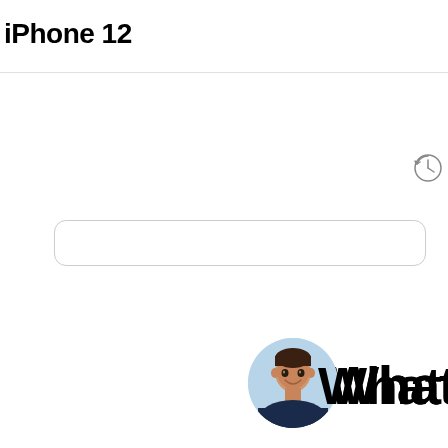iPhone 12
[Figure (screenshot): Partial UI screenshot showing two rounded rectangle button outlines near the top, a clock/history icon in the upper right, and in the lower right a circular avatar photo of a young man in a dark shirt against a light blue background, partially overlapped by bold text starting with 'What']
What